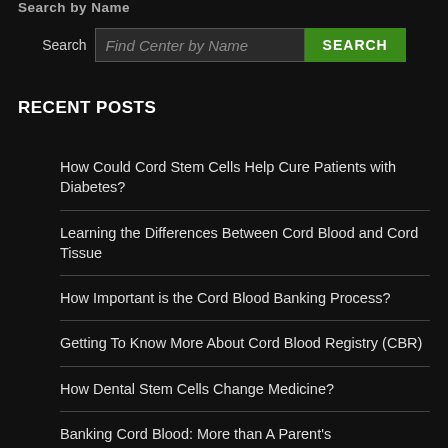Search by Name
[Figure (screenshot): Search input field with placeholder text 'Find Center by Name' and a green SEARCH button]
RECENT POSTS
How Could Cord Stem Cells Help Cure Patients with Diabetes?
Learning the Differences Between Cord Blood and Cord Tissue
How Important is the Cord Blood Banking Process?
Getting To Know More About Cord Blood Registry (CBR)
How Dental Stem Cells Change Medicine?
Banking Cord Blood: More than A Parent's Responsibility?
We need YOU to Help us Build Blood Donor Network